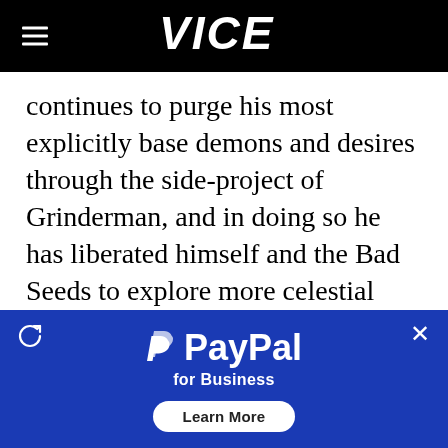VICE
continues to purge his most explicitly base demons and desires through the side-project of Grinderman, and in doing so he has liberated himself and the Bad Seeds to explore more celestial themes. And this transfiguration created one of the very best albums of their remarkable career in 2013's Push The Sky Away. From the glittering luminescence of "Mermaids" to the impressive winding wordplay of "Higgs...
[Figure (other): PayPal for Business advertisement overlay with blue background, PayPal logo, tagline 'for Business', and a 'Learn More' button. Includes close (X) and refresh icons.]